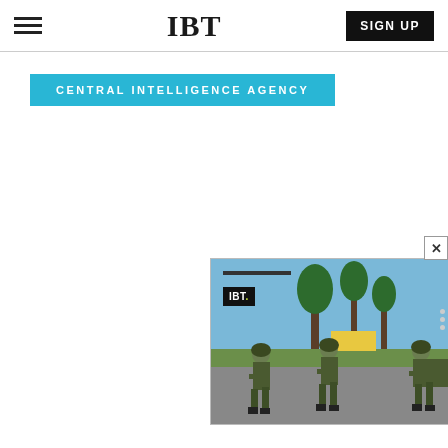IBT
CENTRAL INTELLIGENCE AGENCY
[Figure (photo): IBT news video overlay showing soldiers walking in military gear outdoors, with IBT logo badge and progress bar. A close button (x) is visible in the top right corner of the overlay.]